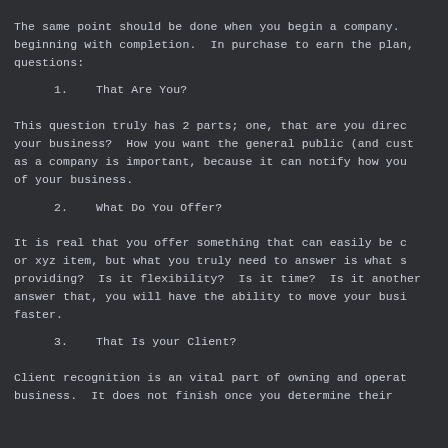The same point should be done when you begin a company. beginning with completion. In purchase to earn the plan, questions:
1.    That Are You?
This question truly has 2 parts; one, that are you direc your business? How you want the general public (and cust as a company is important, because it can notify how you of your business.
2.    What Do You Offer?
It is real that you offer something that can easily be d or xyz item, but what you truly need to answer is what s providing? Is it flexibility? Is it time? Is it another answer that, you will have the ability to move your busi faster.
3.    That Is your Client?
Client recognition is an vital part of owning and operat business. It does not finish once you determine their...